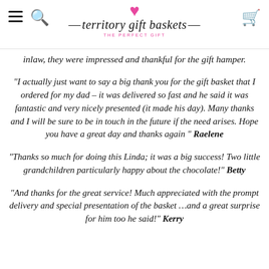territory gift baskets — THE PERFECT GIFT
inlaw, they were impressed and thankful for the gift hamper.
"I actually just want to say a big thank you for the gift basket that I ordered for my dad – it was delivered so fast and he said it was fantastic and very nicely presented (it made his day). Many thanks and I will be sure to be in touch in the future if the need arises. Hope you have a great day and thanks again " Raelene
"Thanks so much for doing this Linda; it was a big success! Two little grandchildren particularly happy about the chocolate!" Betty
"And thanks for the great service! Much appreciated with the prompt delivery and special presentation of the basket …and a great surprise for him too he said!" Kerry